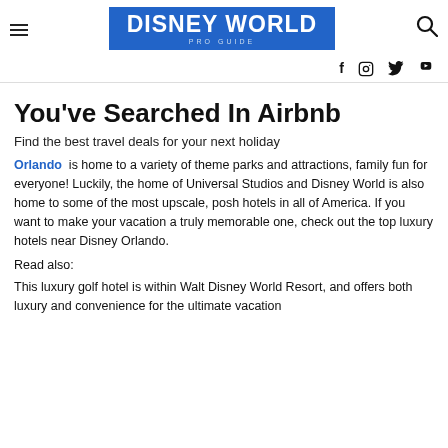DISNEY WORLD PRO GUIDE
f  [instagram]  [twitter]  [youtube]
You've Searched In Airbnb
Find the best travel deals for your next holiday
Orlando is home to a variety of theme parks and attractions, family fun for everyone! Luckily, the home of Universal Studios and Disney World is also home to some of the most upscale, posh hotels in all of America. If you want to make your vacation a truly memorable one, check out the top luxury hotels near Disney Orlando.
Read also:
This luxury golf hotel is within Walt Disney World Resort, and offers both luxury and convenience for the ultimate vacation